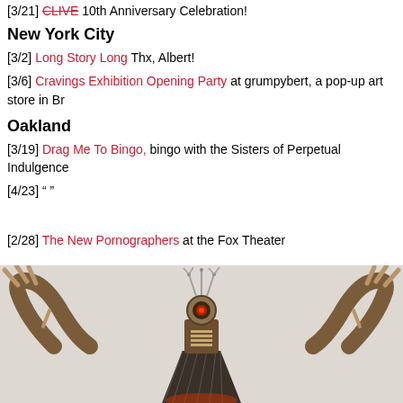[3/21] CLIVE 10th Anniversary Celebration!
New York City
[3/2] Long Story Long Thx, Albert!
[3/6] Cravings Exhibition Opening Party at grumpybert, a pop-up art store in Br
Oakland
[3/19] Drag Me To Bingo, bingo with the Sisters of Perpetual Indulgence
[4/23] " "
[2/28] The New Pornographers at the Fox Theater
[Figure (photo): A sculptural robot-like assemblage figure with curved wooden arms, antenna-like protrusions, and a central mechanical body with glowing red element, photographed against a light gray background.]